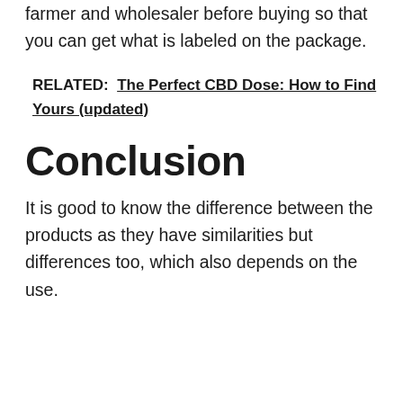farmer and wholesaler before buying so that you can get what is labeled on the package.
RELATED: The Perfect CBD Dose: How to Find Yours (updated)
Conclusion
It is good to know the difference between the products as they have similarities but differences too, which also depends on the use.